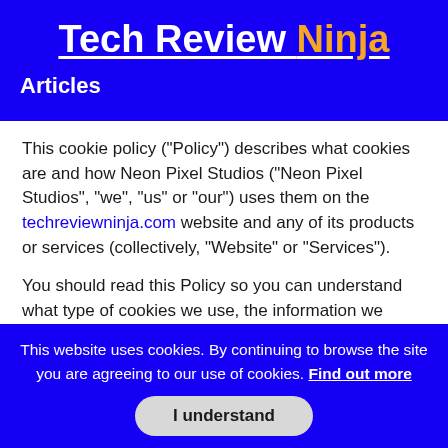Tech Review Ninja
Articles
This cookie policy ("Policy") describes what cookies are and how Neon Pixel Studios ("Neon Pixel Studios", "we", "us" or "our") uses them on the techreviewninja.com website and any of its products or services (collectively, "Website" or "Services").
You should read this Policy so you can understand what type of cookies we use, the information we collect using
This website uses cookies. By continuing to browse the site you are agreeing to our use of cookies. Find out more
I understand